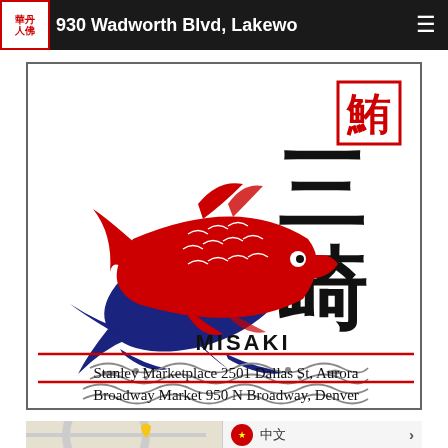930 Wadworth Blvd, Lakewood
[Figure (logo): Misaki Japanese fish market logo featuring a red fish over a blue tuna fish graphic, with large Japanese kanji characters 三崎 (Misaki), a small red stamp reading 鮪 (tuna), wave design at bottom, text MISAKI, and two location addresses: Stanley Marketplace 2501 Dallas St, Aurora and Broadway Market 950 N Broadway, Denver]
[Figure (map): Partial map screenshot at bottom of page with a language selector overlay showing Chinese flag and characters 中文 with a right arrow]